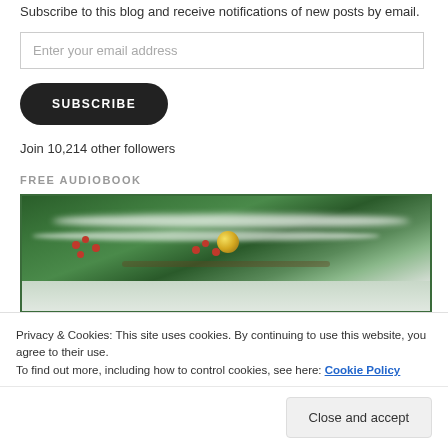Subscribe to this blog and receive notifications of new posts by email.
Enter your email address
SUBSCRIBE
Join 10,214 other followers
FREE AUDIOBOOK
[Figure (photo): Christmas decoration photo with snow-covered pine branches, red berries, gold ornament ball against a grey-green background]
Privacy & Cookies: This site uses cookies. By continuing to use this website, you agree to their use.
To find out more, including how to control cookies, see here: Cookie Policy
Close and accept